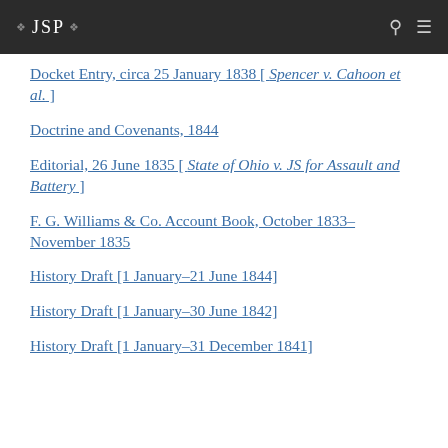JSP
Docket Entry, circa 25 January 1838 [ Spencer v. Cahoon et al. ]
Doctrine and Covenants, 1844
Editorial, 26 June 1835 [ State of Ohio v. JS for Assault and Battery ]
F. G. Williams & Co. Account Book, October 1833–November 1835
History Draft [1 January–21 June 1844]
History Draft [1 January–30 June 1842]
History Draft [1 January–31 December 1841]